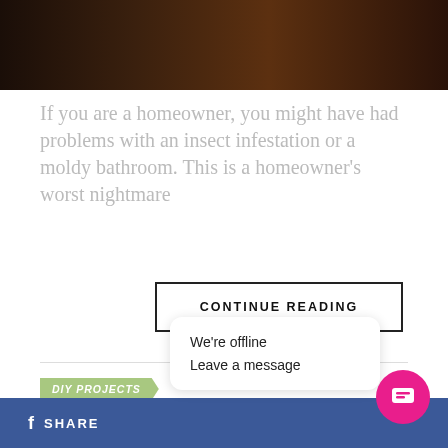[Figure (photo): Dark brown wooden background photo cropped at top]
If you are a homeowner, you might have had problems with an insect infestation or a moldy bathroom. This is a homeowner's worst nightmare
CONTINUE READING
DIY PROJECTS
6 Ways to Save Money on a Bathroom Remodel
Published 1 week ago on August 24, 2022
By Garden & Greenhouse
We're offline
Leave a message
SHARE